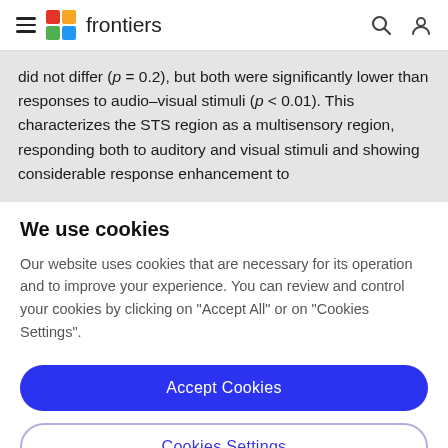frontiers
did not differ (p = 0.2), but both were significantly lower than responses to audio–visual stimuli (p < 0.01). This characterizes the STS region as a multisensory region, responding both to auditory and visual stimuli and showing considerable response enhancement to
We use cookies
Our website uses cookies that are necessary for its operation and to improve your experience. You can review and control your cookies by clicking on "Accept All" or on "Cookies Settings".
Accept Cookies
Cookies Settings